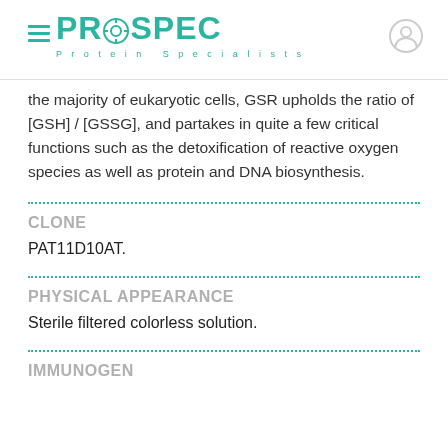PROSPEC Protein Specialists
the majority of eukaryotic cells, GSR upholds the ratio of [GSH] / [GSSG], and partakes in quite a few critical functions such as the detoxification of reactive oxygen species as well as protein and DNA biosynthesis.
CLONE
PAT11D10AT.
PHYSICAL APPEARANCE
Sterile filtered colorless solution.
IMMUNOGEN